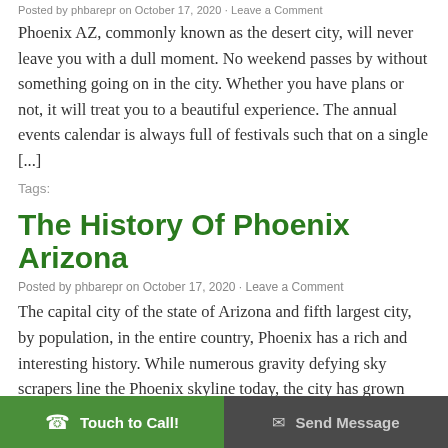Posted by phbarepr on October 17, 2020 · Leave a Comment
Phoenix AZ, commonly known as the desert city, will never leave you with a dull moment. No weekend passes by without something going on in the city. Whether you have plans or not, it will treat you to a beautiful experience. The annual events calendar is always full of festivals such that on a single [...]
Tags:
The History Of Phoenix Arizona
Posted by phbarepr on October 17, 2020 · Leave a Comment
The capital city of the state of Arizona and fifth largest city, by population, in the entire country, Phoenix has a rich and interesting history. While numerous gravity defying sky scrapers line the Phoenix skyline today, the city has grown leaps and bounds from the bare dry Salt River valley that was once home to [...]
Tags:
Touch to Call! | Send Message